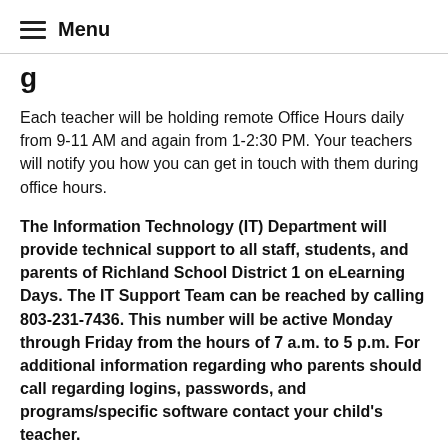Menu
g
Each teacher will be holding remote Office Hours daily from 9-11 AM and again from 1-2:30 PM. Your teachers will notify you how you can get in touch with them during office hours.
The Information Technology (IT) Department will provide technical support to all staff, students, and parents of Richland School District 1 on eLearning Days. The IT Support Team can be reached by calling 803-231-7436. This number will be active Monday through Friday from the hours of 7 a.m. to 5 p.m. For additional information regarding who parents should call regarding logins, passwords, and programs/specific software contact your child's teacher.